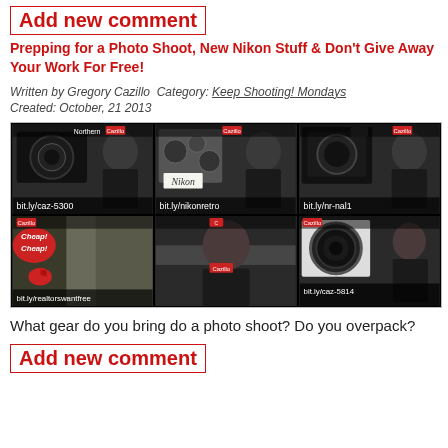Add new comment
Prepping for a Photo Shoot, New Nikon Stuff & Don't Give Away Your Work For Free!
Written by Gregory Cazillo  Category: Keep Shooting! Mondays
Created: October, 21 2013
[Figure (screenshot): A 2x3 grid of video thumbnails featuring a man in a black shirt, various cameras, and overlay text including bit.ly/caz-5300, bit.ly/nikonretro, bit.ly/nr-nal1, bit.ly/realtorswantfree, bit.ly/caz-5814, and 'Cheap! Cheap!' text]
What gear do you bring do a photo shoot? Do you overpack?
Add new comment